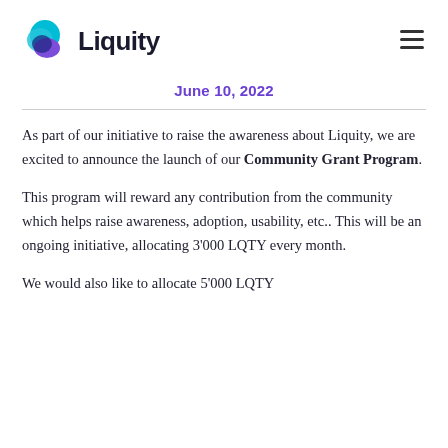Liquity
June 10, 2022
As part of our initiative to raise the awareness about Liquity, we are excited to announce the launch of our Community Grant Program.
This program will reward any contribution from the community which helps raise awareness, adoption, usability, etc.. This will be an ongoing initiative, allocating 3'000 LQTY every month.
We would also like to allocate 5'000 LQTY